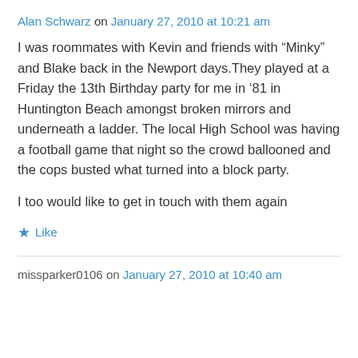Alan Schwarz on January 27, 2010 at 10:21 am
I was roommates with Kevin and friends with “Minky” and Blake back in the Newport days.They played at a Friday the 13th Birthday party for me in ’81 in Huntington Beach amongst broken mirrors and underneath a ladder. The local High School was having a football game that night so the crowd ballooned and the cops busted what turned into a block party.

I too would like to get in touch with them again
★ Like
missparker0106 on January 27, 2010 at 10:40 am